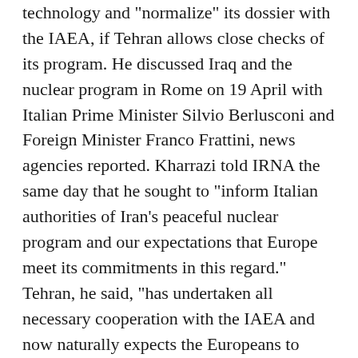technology and "normalize" its dossier with the IAEA, if Tehran allows close checks of its program. He discussed Iraq and the nuclear program in Rome on 19 April with Italian Prime Minister Silvio Berlusconi and Foreign Minister Franco Frattini, news agencies reported. Kharrazi told IRNA the same day that he sought to "inform Italian authorities of Iran's peaceful nuclear program and our expectations that Europe meet its commitments in this regard." Tehran, he said, "has undertaken all necessary cooperation with the IAEA and now naturally expects the Europeans to work to normalize Iran's dossier [there] and initiate nuclear relations with Iran," IRNA reported.
He was accompanied by Foreign Ministry spokesman Hamid Reza Assefi, who rejected on 19 April an Italian newspaper report that Iran asked Italy to